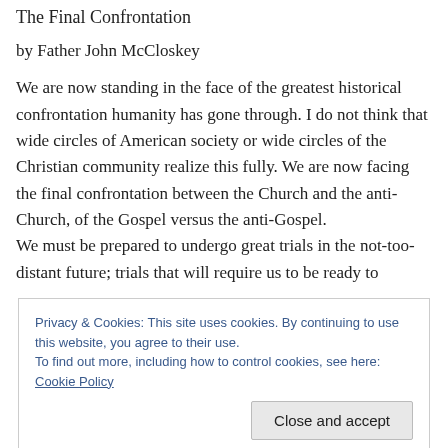The Final Confrontation
by Father John McCloskey
We are now standing in the face of the greatest historical confrontation humanity has gone through. I do not think that wide circles of American society or wide circles of the Christian community realize this fully. We are now facing the final confrontation between the Church and the anti-Church, of the Gospel versus the anti-Gospel.
We must be prepared to undergo great trials in the not-too-distant future; trials that will require us to be ready to
Privacy & Cookies: This site uses cookies. By continuing to use this website, you agree to their use.
To find out more, including how to control cookies, see here: Cookie Policy
Close and accept
Bicentennial talk given in the United States by the future